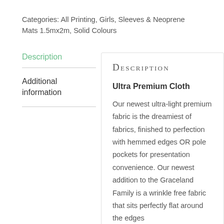Categories: All Printing, Girls, Sleeves & Neoprene Mats 1.5mx2m, Solid Colours
Description
Additional information
DESCRIPTION
Ultra Premium Cloth
Our newest ultra-light premium fabric is the dreamiest of fabrics, finished to perfection with hemmed edges OR pole pockets for presentation convenience. Our newest addition to the Graceland Family is a wrinkle free fabric that sits perfectly flat around the edges